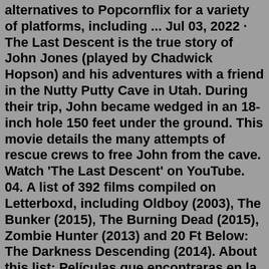alternatives to Popcornflix for a variety of platforms, including ... Jul 03, 2022 · The Last Descent is the true story of John Jones (played by Chadwick Hopson) and his adventures with a friend in the Nutty Putty Cave in Utah. During their trip, John became wedged in an 18-inch hole 150 feet under the ground. This movie details the many attempts of rescue crews to free John from the cave. Watch 'The Last Descent' on YouTube. 04. A list of 392 films compiled on Letterboxd, including Oldboy (2003), The Bunker (2015), The Burning Dead (2015), Zombie Hunter (2013) and 20 Ft Below: The Darkness Descending (2014). About this list: Películas que encontraras en la aplicación y página oficial popcornflix Pluto TV - Drop in. Watch Free. Watch 250+ channels of free TV and 1000's of on-demand movies and TV shows.JustWatch TV shows you a list of all shows available. We organized it by popularity so you can easily pick up the top shows and start to binge them right away. You want only the best shows on Popcornflix? Our rating filter will help you sorting